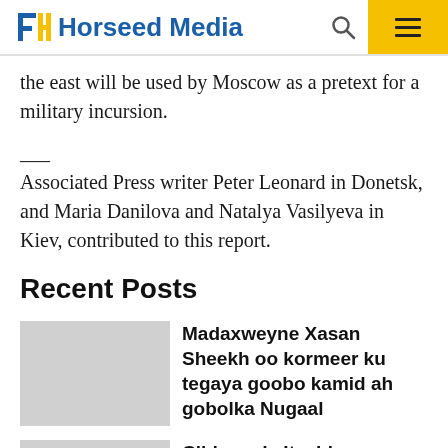HM Horseed Media
the east will be used by Moscow as a pretext for a military incursion.
___
Associated Press writer Peter Leonard in Donetsk, and Maria Danilova and Natalya Vasilyeva in Kiev, contributed to this report.
Recent Posts
Madaxweyne Xasan Sheekh oo kormeer ku tegaya goobo kamid ah gobolka Nugaal
Ciidamada Itaabiya oo...